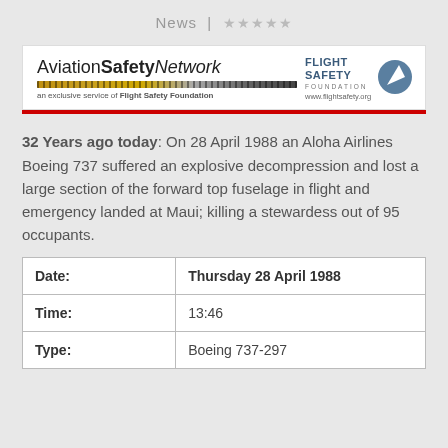News | ★★★★★
[Figure (logo): Aviation Safety Network logo with Flight Safety Foundation branding, orange/gold dotted line, and red horizontal rule]
32 Years ago today: On 28 April 1988 an Aloha Airlines Boeing 737 suffered an explosive decompression and lost a large section of the forward top fuselage in flight and emergency landed at Maui; killing a stewardess out of 95 occupants.
| Field | Value |
| --- | --- |
| Date: | Thursday 28 April 1988 |
| Time: | 13:46 |
| Type: | Boeing 737-297 |